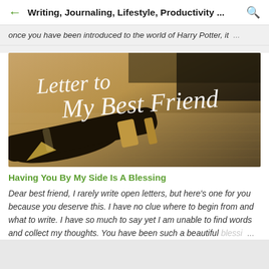Writing, Journaling, Lifestyle, Productivity ...
once you have been introduced to the world of Harry Potter, it ...
[Figure (photo): A close-up photo of a fountain pen resting on paper with cursive white text overlay reading 'Letter to My Best Friend' on a warm golden-brown background.]
Having You By My Side Is A Blessing
Dear best friend, I rarely write open letters, but here's one for you because you deserve this. I have no clue where to begin from and what to write. I have so much to say yet I am unable to find words and collect my thoughts. You have been such a beautiful blessi ...